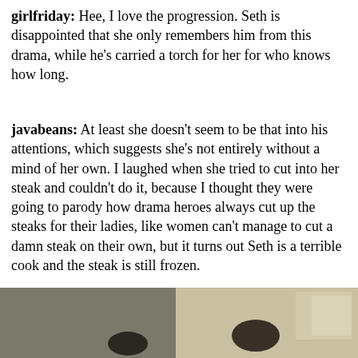girlfriday: Hee, I love the progression. Seth is disappointed that she only remembers him from this drama, while he's carried a torch for her for who knows how long.
javabeans: At least she doesn't seem to be that into his attentions, which suggests she's not entirely without a mind of her own. I laughed when she tried to cut into her steak and couldn't do it, because I thought they were going to parody how drama heroes always cut up the steaks for their ladies, like women can't manage to cut a damn steak on their own, but it turns out Seth is a terrible cook and the steak is still frozen.
[Figure (screenshot): Advertisement banner for george mason university Chief Executive/General position on jobble.com, with a photo thumbnail labeled Sponsored on the left.]
[Figure (photo): Bottom strip photo showing a scene with people, appears to be a drama screenshot with a window visible on the right side.]